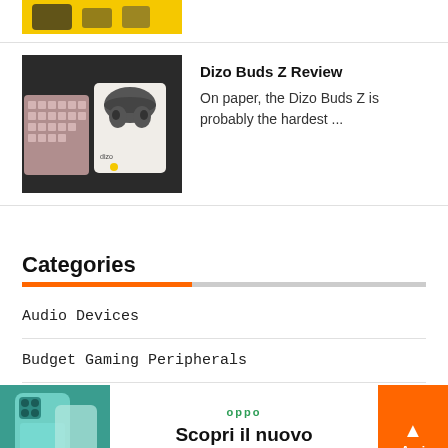[Figure (photo): Partial product image on yellow background at top of page]
[Figure (photo): Dizo Buds Z earbuds product photo on dark background with mechanical keyboard]
Dizo Buds Z Review
On paper, the Dizo Buds Z is probably the hardest ...
Categories
Audio Devices
Budget Gaming Peripherals
[Figure (photo): OPPO Reno8 advertisement banner with phone image and text: Scopri il nuovo OPPO Reno8]